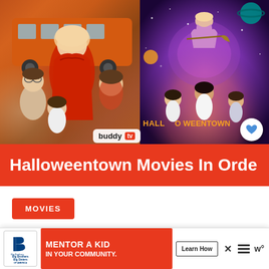[Figure (photo): Hero image collage showing two Halloweentown movie stills side by side: left shows characters with a woman in red robes near an orange school bus, right shows the Halloweentown movie poster with purple/space background and the Halloweentown logo in orange. A red title bar overlays the bottom with text 'Halloweentown Movies In Order'. BuddyTV logo watermark visible in center. Heart and share buttons on right side.]
Halloweentown Movies In Order
MOVIES
Halloweentown Movies In Order
Se...
[Figure (photo): Advertisement banner: Big Brothers Big Sisters of America logo on left, red background with text 'MENTOR A KID IN YOUR COMMUNITY.' in white bold font, a 'Learn How' button, close X button, hamburger menu icon, and a W degree symbol on right.]